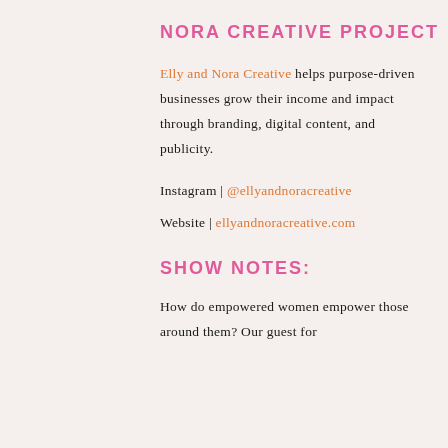NORA CREATIVE PROJECT
Elly and Nora Creative helps purpose-driven businesses grow their income and impact through branding, digital content, and publicity.
Instagram | @ellyandnoracreative
Website | ellyandnoracreative.com
SHOW NOTES:
How do empowered women empower those around them? Our guest for